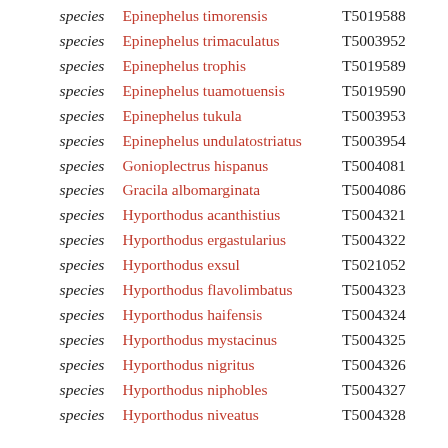| rank | name | id |
| --- | --- | --- |
| species | Epinephelus timorensis | T5019588 |
| species | Epinephelus trimaculatus | T5003952 |
| species | Epinephelus trophis | T5019589 |
| species | Epinephelus tuamotuensis | T5019590 |
| species | Epinephelus tukula | T5003953 |
| species | Epinephelus undulatostriatus | T5003954 |
| species | Gonioplectrus hispanus | T5004081 |
| species | Gracila albomarginata | T5004086 |
| species | Hyporthodus acanthistius | T5004321 |
| species | Hyporthodus ergastularius | T5004322 |
| species | Hyporthodus exsul | T5021052 |
| species | Hyporthodus flavolimbatus | T5004323 |
| species | Hyporthodus haifensis | T5004324 |
| species | Hyporthodus mystacinus | T5004325 |
| species | Hyporthodus nigritus | T5004326 |
| species | Hyporthodus niphobles | T5004327 |
| species | Hyporthodus niveatus | T5004328 |